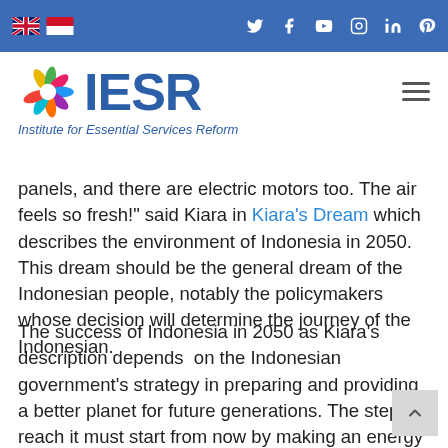IESR - Institute for Essential Services Reform (navigation bar with flags and social icons)
[Figure (logo): IESR logo with colorful swirl and text 'IESR' and subtitle 'Institute for Essential Services Reform']
panels, and there are electric motors too. The air feels so fresh!" said Kiara in Kiara's Dream which describes the environment of Indonesia in 2050. This dream should be the general dream of the Indonesian people, notably the policymakers whose decision will determine the journey of the Indonesian.
The success of Indonesia in 2050 as Kiara's description depends on the Indonesian government's strategy in preparing and providing a better planet for future generations. The step to reach it must start from now by making an energy transition, switching from fossil energy to renewable energy.